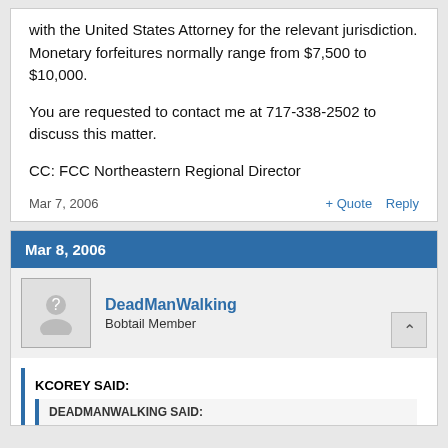with the United States Attorney for the relevant jurisdiction. Monetary forfeitures normally range from $7,500 to $10,000.
You are requested to contact me at 717-338-2502 to discuss this matter.
CC: FCC Northeastern Regional Director
Mar 7, 2006    + Quote   Reply
Mar 8, 2006
DeadManWalking
Bobtail Member
KCOREY SAID:
DEADMANWALKING SAID: